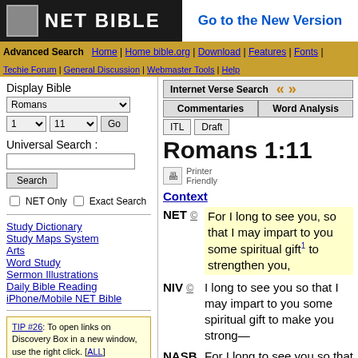NET BIBLE — Go to the New Version
Advanced Search | Home | Home bible.org | Download | Features | Fonts | Techie Forum | General Discussion | Webmaster Tools | Help
Display Bible
Romans — 1 — 11 — Go
Universal Search :
Search
NET Only   Exact Search
Study Dictionary
Study Maps System
Arts
Word Study
Sermon Illustrations
Daily Bible Reading
iPhone/Mobile NET Bible
TIP #26: To open links on Discovery Box in a new window, use the right click. [ALL]
created in 0.02 seconds
powered by bible.org
Internet Verse Search
Commentaries | Word Analysis
ITL Draft
Romans 1:11
Printer Friendly
Context
NET © — For I long to see you, so that I may impart to you some spiritual gift 1 to strengthen you,
NIV © — I long to see you so that I may impart to you some spiritual gift to make you strong—
NASB © — For I long to see you so that I may